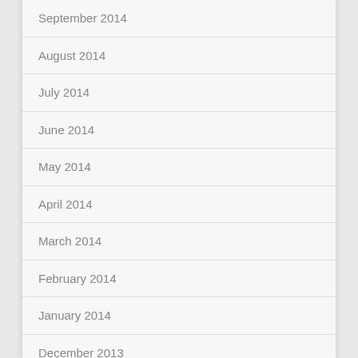September 2014
August 2014
July 2014
June 2014
May 2014
April 2014
March 2014
February 2014
January 2014
December 2013